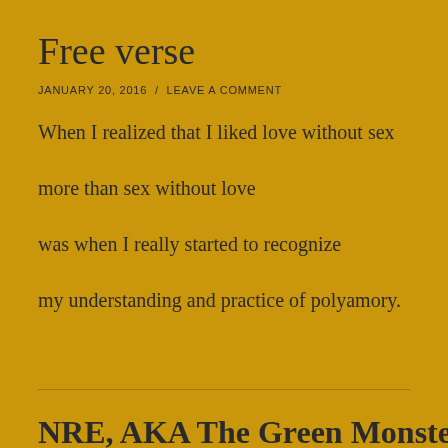Free verse
JANUARY 20, 2016  /  LEAVE A COMMENT
When I realized that I liked love without sex

more than sex without love

was when I really started to recognize

my understanding and practice of polyamory.
NRE, AKA The Green Monster